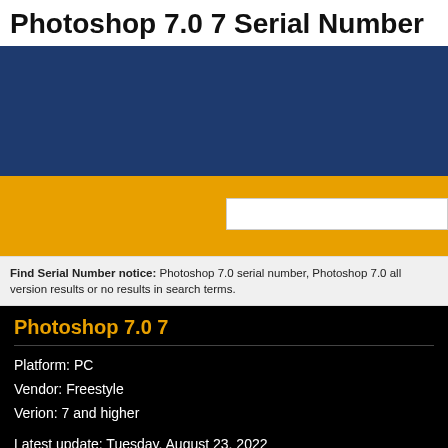Photoshop 7.0 7 Serial Number
[Figure (other): Dark blue banner/header area]
[Figure (other): Orange banner with white search box input field]
Find Serial Number notice: Photoshop 7.0 serial number, Photoshop 7.0 all version results or no results in search terms.
Photoshop 7.0 7
Platform: PC
Vendor: Freestyle
Verion: 7 and higher
Latest update: Tuesday, August 23, 2022
Serial Number